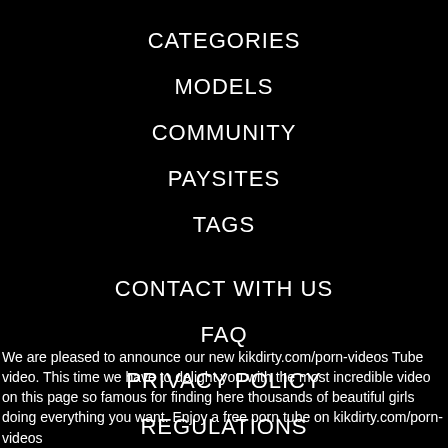CATEGORIES
MODELS
COMMUNITY
PAYSITES
TAGS
CONTACT WITH US
FAQ
PRIVACY POLICY
REGULATIONS
We are pleased to announce our new kikdirty.com/porn-videos Tube video. This time we have to delight you with the most incredible video on this page so famous for finding here thousands of beautiful girls doing everything you want. Enjoy a free porn tube on kikdirty.com/porn-videos